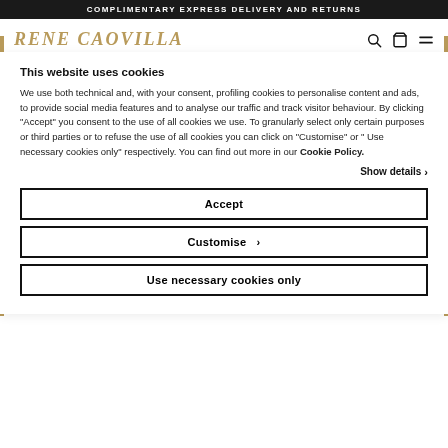COMPLIMENTARY EXPRESS DELIVERY AND RETURNS
[Figure (logo): RENE CAOVILLA brand logo in gold italic serif font, with search, bag, and menu icons on the right]
This website uses cookies
We use both technical and, with your consent, profiling cookies to personalise content and ads, to provide social media features and to analyse our traffic and track visitor behaviour. By clicking "Accept" you consent to the use of all cookies we use. To granularly select only certain purposes or third parties or to refuse the use of all cookies you can click on "Customise" or " Use necessary cookies only" respectively. You can find out more in our Cookie Policy.
Show details >
Accept
Customise >
Use necessary cookies only